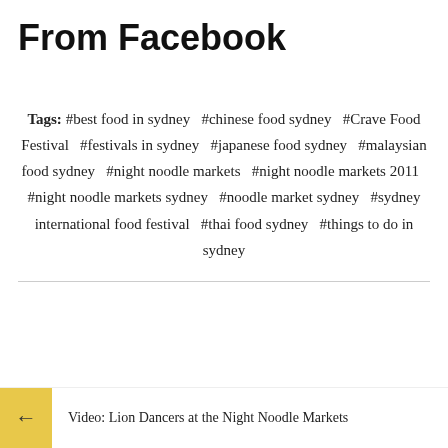From Facebook
Tags: #best food in sydney  #chinese food sydney  #Crave Food Festival  #festivals in sydney  #japanese food sydney  #malaysian food sydney  #night noodle markets  #night noodle markets 2011  #night noodle markets sydney  #noodle market sydney  #sydney international food festival  #thai food sydney  #things to do in sydney
← Video: Lion Dancers at the Night Noodle Markets